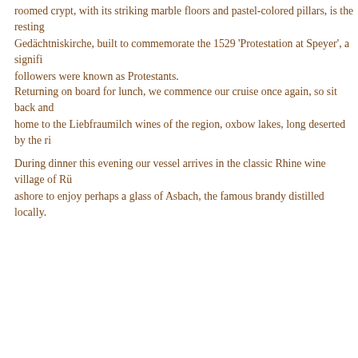roomed crypt, with its striking marble floors and pastel-colored pillars, is the resting Gedächtniskirche, built to commemorate the 1529 'Protestation at Speyer', a signifi followers were known as Protestants.
Returning on board for lunch, we commence our cruise once again, so sit back and home to the Liebfraumilch wines of the region, oxbow lakes, long deserted by the ri
During dinner this evening our vessel arrives in the classic Rhine wine village of Rü ashore to enjoy perhaps a glass of Asbach, the famous brandy distilled locally.
[Figure (photo): Outdoor photo showing a bright blue sky with white clouds, taken from below looking upward, partially cut off on the right side of the page.]